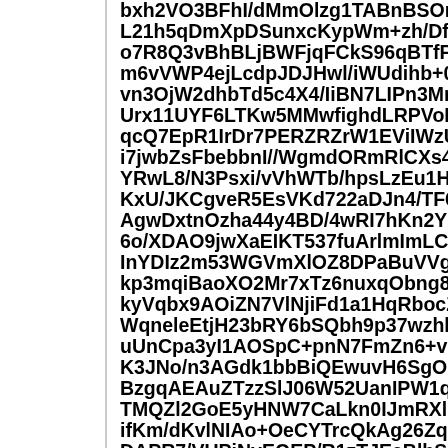bxh2VO3BFhI/dMmOlzg1TABnBSOmIZSZWlSlt4I L21h5qDmXpDSunxcKypWm+zh/DfnbuxyyhMPF o7R8Q3vBhBLjBWFjqFCkS96qBTfFV8XkXd0QO m6vVWP4ejLcdpJDJHwl/iWUdihb+0m49j0uNLV vn3OjW2dhbTd5c4X4/IiBN7LIPn3MnjXLD0A4z2 Urx11UYF6LTKw5MMwfighdLRPVoPUE1QYVTF qcQ7EpR1IrDr7PERZRZrW1EViIWzUp8XHCzdV i7jwbZsFbebbnI//WgmdORmRlCXs4OiGFt4/qz2C YRwL8/N3Psxi/vVhWTb/hpsLzEu1HuibaSSXI4+e KxU/JKCgveR5EsVKd722aDJn4/TF6ZcZnV8c/yC AgwDxtnOzha44y4BD/4wRI7hKn2YE1vFoRE+QI 6o/XDAO9jwXaEIKT537fuArlmImLCcPRzI7pYNA InYDIz2m53WGVmXlOZ8DPaBuVVgwahnrIYscU kp3mqiBaoXO2Mr7xTz6nuxqObng8xzT5jETo8Ty kyVqbx9AOiZN7VlNjiFd1a1HqRbocZEky0wsU+p WqneleEtjH23bRY6bSQbh9p37wzhhYmCj0w3ET uUnCpa3yI1AOSpC+pnN7FmZn6+vo71NBHKV9 K3JNo/n3AGdk1bbBiQEwuvH6SgOGoBRh2AxF BzgqAEAuZTzzSlJ06W52UanIPW1qIq+gZp+idlw TMQZl2GoE5yHNW7CaLkn0IJmRXl0kprGiH95Be ifKm/dKvlNIAo+OeCYTrcQkAg26ZqgFX02ZkChs DAPR7/VUPiNyEQEP/R1zTJEeBlhSeL/hrV/FknK